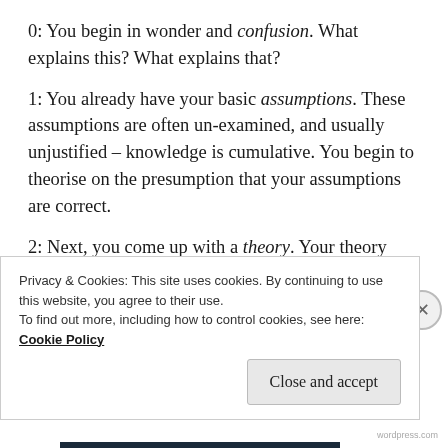0: You begin in wonder and confusion. What explains this? What explains that?
1: You already have your basic assumptions. These assumptions are often un-examined, and usually unjustified – knowledge is cumulative. You begin to theorise on the presumption that your assumptions are correct.
2: Next, you come up with a theory. Your theory consists of a number or just one major If-Then logical statement. The purpose of the theory is to explain something, and or predict and control
Privacy & Cookies: This site uses cookies. By continuing to use this website, you agree to their use.
To find out more, including how to control cookies, see here: Cookie Policy
Close and accept